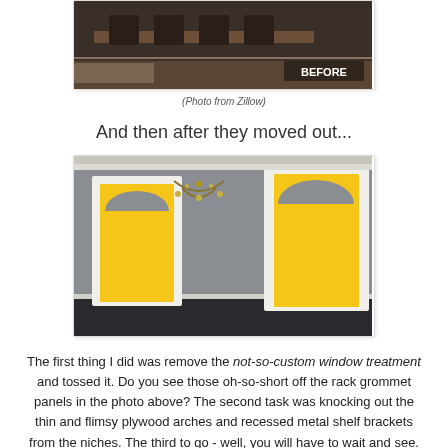[Figure (photo): Before photo of a dining room with dark wood furniture and bar stools, with BEFORE label in the corner]
(Photo from Zillow)
And then after they moved out...
[Figure (photo): Photo of an empty room with grey walls featuring two yellow niche panels with white trim and an arched top, and a chandelier]
The first thing I did was remove the not-so-custom window treatment and tossed it. Do you see those oh-so-short off the rack grommet panels in the photo above? The second task was knocking out the thin and flimsy plywood arches and recessed metal shelf brackets from the niches. The third to go - well, you will have to wait and see.